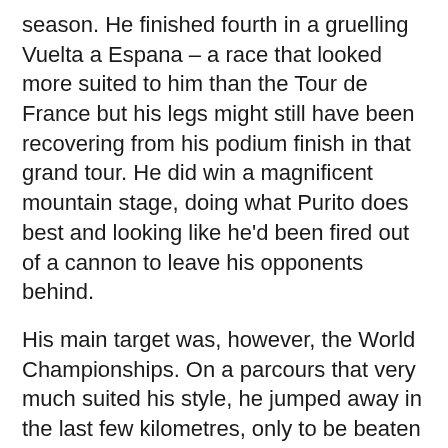season. He finished fourth in a gruelling Vuelta a Espana – a race that looked more suited to him than the Tour de France but his legs might still have been recovering from his podium finish in that grand tour. He did win a magnificent mountain stage, doing what Purito does best and looking like he'd been fired out of a cannon to leave his opponents behind.
His main target was, however, the World Championships. On a parcours that very much suited his style, he jumped away in the last few kilometres, only to be beaten by mere inches by Movistar's Rui Costa. The man looked inconsolable on the podium that day and certainly didn't have anything to say to third-placed compatriot Alejandro Valverde, who didn't, for whatever reason, help Purito at all at the end. This is most certainly a relationship to watch next year …